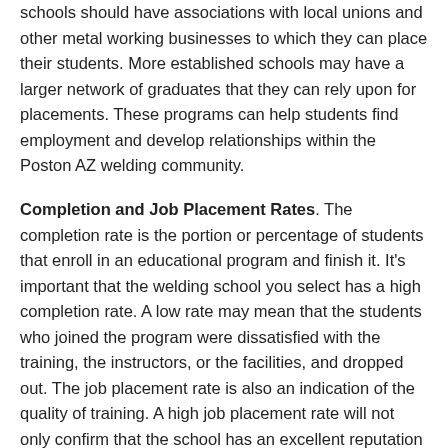schools should have associations with local unions and other metal working businesses to which they can place their students. More established schools may have a larger network of graduates that they can rely upon for placements. These programs can help students find employment and develop relationships within the Poston AZ welding community.
Completion and Job Placement Rates. The completion rate is the portion or percentage of students that enroll in an educational program and finish it. It's important that the welding school you select has a high completion rate. A low rate may mean that the students who joined the program were dissatisfied with the training, the instructors, or the facilities, and dropped out. The job placement rate is also an indication of the quality of training. A high job placement rate will not only confirm that the school has an excellent reputation within the trade, but also that it has the network of